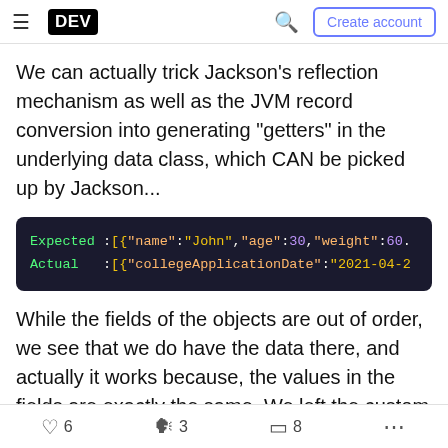DEV | Create account
We can actually trick Jackson's reflection mechanism as well as the JVM record conversion into generating "getters" in the underlying data class, which CAN be picked up by Jackson...
[Figure (screenshot): Code block showing Expected and Actual output lines. Expected :[{"name":"John","age":30,"weight":60. Actual :[{"collegeApplicationDate":"2021-04-2...]
While the fields of the objects are out of order, we see that we do have the data there, and actually it works because, the values in the fields are exactly the same. We left the custom serializer to handle the date, but, using the "artificial getter" actually was a
6  3  8  ...